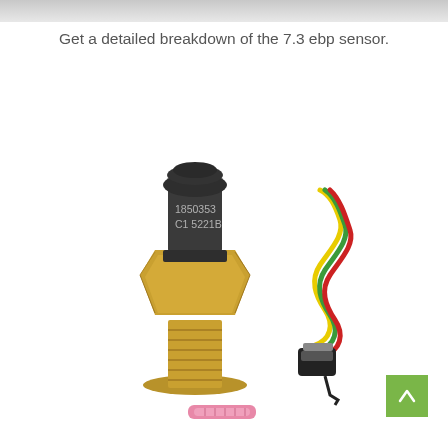[Figure (photo): Gray banner strip at the top of the page, partially visible from a previous section.]
Get a detailed breakdown of the 7.3 ebp sensor.
[Figure (photo): Product photo showing a brass/gold threaded EBP (Exhaust Back Pressure) sensor with part number 1850353 C1 5221B printed on its dark plastic connector body, alongside a wiring harness with red, green, and yellow wires and a black connector plug. Below the sensor is a small pink wire connector.]